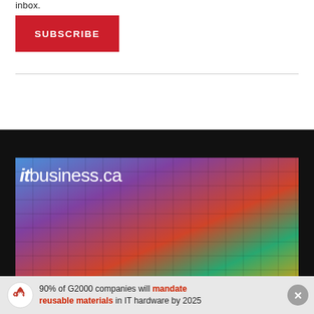inbox.
SUBSCRIBE
[Figure (screenshot): ITBusiness.ca website screenshot showing a colorful semiconductor wafer with the itbusiness.ca logo overlaid on a dark background]
90% of G2000 companies will mandate reusable materials in IT hardware by 2025